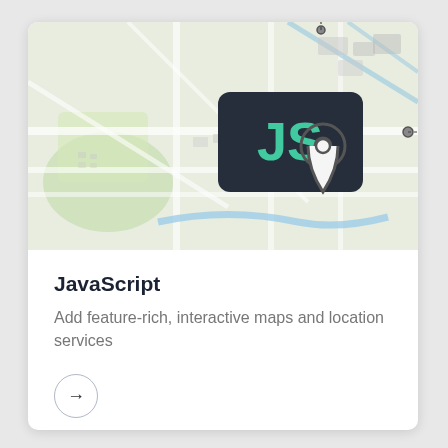[Figure (illustration): A card with a map image on top showing streets and greenery. Overlaid on the map is a dark rounded rectangle with a green 'JS' logo. There is a location pin icon in the lower right area of the map. Two small pin markers and dashed lines appear on the map edges.]
JavaScript
Add feature-rich, interactive maps and location services
[Figure (illustration): A circular button with a right-pointing arrow inside a circle outline.]